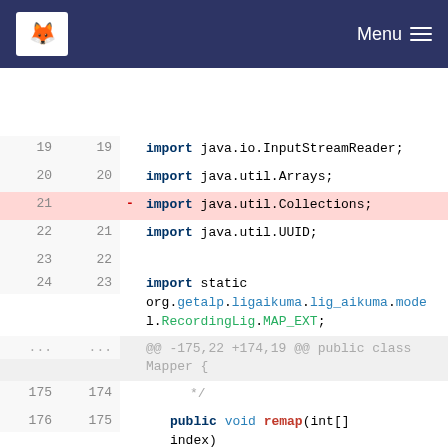GitLab — Menu
[Figure (screenshot): Code diff view showing Java source file changes. Lines 19-23 show import statements (java.io.InputStreamReader, java.util.Arrays, java.util.Collections deleted, java.util.UUID). Lines 24/23 show import static org.getalp.ligaikuma.lig_aikuma.model.RecordingLig.MAP_EXT. A hunk header shows @@ -175,22 +174,19 @@ public class Mapper {. Lines 175/174 show comment close */. Lines 176/175 show public void remap(int[] index). Lines 177/176 show opening brace. Lines 178-179 deleted: Log.d calls. Line 177 added: if(index.length==0)]